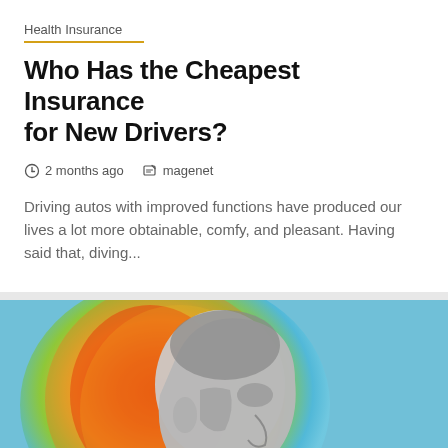Health Insurance
Who Has the Cheapest Insurance for New Drivers?
2 months ago   magenet
Driving autos with improved functions have produced our lives a lot more obtainable, comfy, and pleasant. Having said that, diving...
[Figure (photo): Black and white side profile of an elderly man against a colorful heatmap background with red, orange, yellow, green and blue colors. A yellow back-to-top button with an upward chevron arrow is in the bottom right corner.]